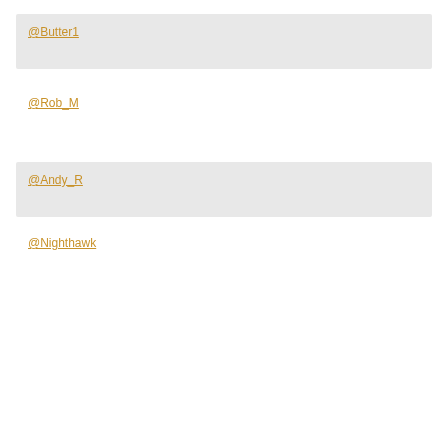@Butter1
@Rob_M
@Andy_R
@Nighthawk